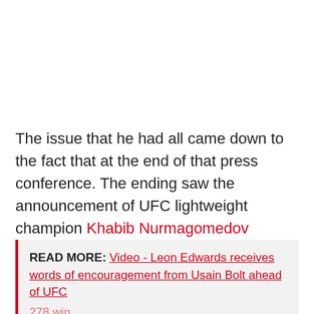The issue that he had all came down to the fact that at the end of that press conference. The ending saw the announcement of UFC lightweight champion Khabib Nurmagomedov fighting Conor McGregor at the upcoming UFC 229 event.
READ MORE: Video - Leon Edwards receives words of encouragement from Usain Bolt ahead of UFC 278 win